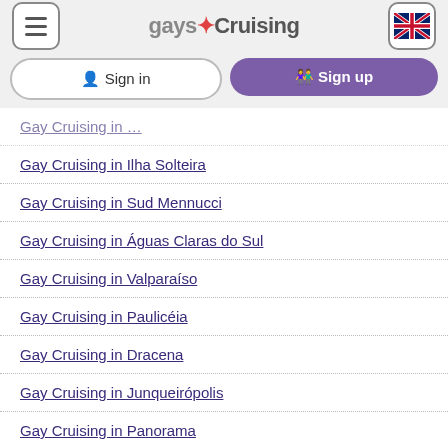gaysCruising
Gay Cruising in Ilha Solteira
Gay Cruising in Sud Mennucci
Gay Cruising in Águas Claras do Sul
Gay Cruising in Valparaíso
Gay Cruising in Paulicéia
Gay Cruising in Dracena
Gay Cruising in Junqueirópolis
Gay Cruising in Panorama
Gay Cruising in Bento de Abreu
Gay Cruising in Ouro Verde
Gay Cruising in Pacaembu
Gay Cruising in Marinópolis